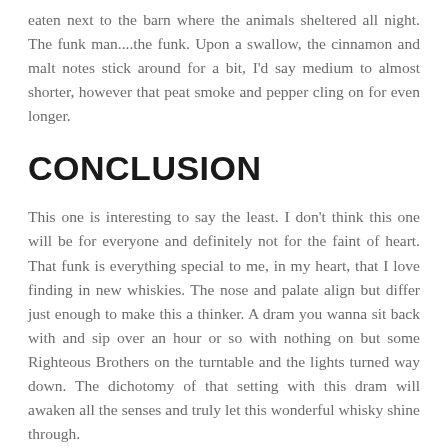eaten next to the barn where the animals sheltered all night. The funk man....the funk. Upon a swallow, the cinnamon and malt notes stick around for a bit, I'd say medium to almost shorter, however that peat smoke and pepper cling on for even longer.
CONCLUSION
This one is interesting to say the least. I don't think this one will be for everyone and definitely not for the faint of heart. That funk is everything special to me, in my heart, that I love finding in new whiskies. The nose and palate align but differ just enough to make this a thinker. A dram you wanna sit back with and sip over an hour or so with nothing on but some Righteous Brothers on the turntable and the lights turned way down. The dichotomy of that setting with this dram will awaken all the senses and truly let this wonderful whisky shine through.